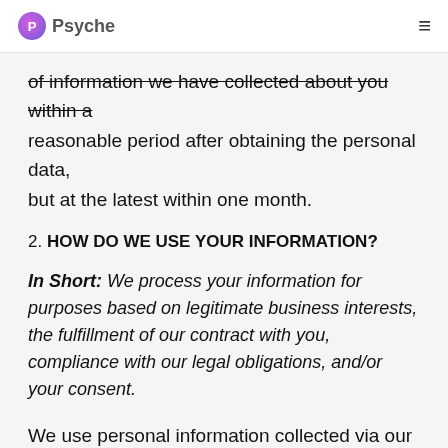Psyche
of information we have collected about you within a reasonable period after obtaining the personal data, but at the latest within one month.
2. HOW DO WE USE YOUR INFORMATION?
In Short: We process your information for purposes based on legitimate business interests, the fulfillment of our contract with you, compliance with our legal obligations, and/or your consent.
We use personal information collected via our Services or Apps for a variety of business purposes described below. We process your personal information for these purposes in reliance on our legitimate